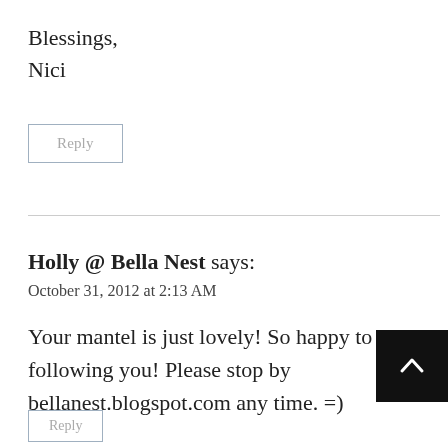Blessings,
Nici
Reply
Holly @ Bella Nest says:
October 31, 2012 at 2:13 AM
Your mantel is just lovely! So happy to be following you! Please stop by bellanest.blogspot.com any time. =)